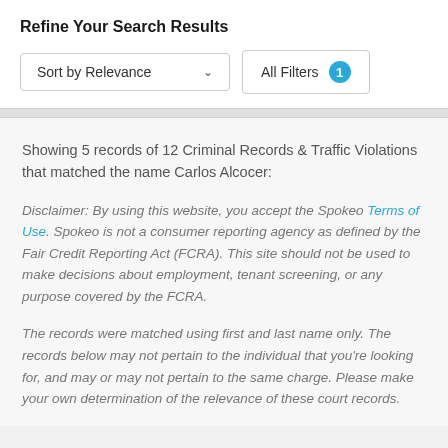Refine Your Search Results
Sort by Relevance  ∨    All Filters  1
Showing 5 records of 12 Criminal Records & Traffic Violations that matched the name Carlos Alcocer:
Disclaimer: By using this website, you accept the Spokeo Terms of Use. Spokeo is not a consumer reporting agency as defined by the Fair Credit Reporting Act (FCRA). This site should not be used to make decisions about employment, tenant screening, or any purpose covered by the FCRA.
The records were matched using first and last name only. The records below may not pertain to the individual that you're looking for, and may or may not pertain to the same charge. Please make your own determination of the relevance of these court records.